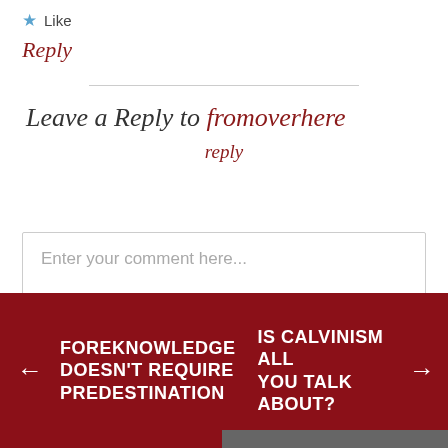★ Like
Reply
Leave a Reply to fromoverhere   Cancel
reply
Enter your comment here...
← FOREKNOWLEDGE DOESN'T REQUIRE PREDESTINATION
IS CALVINISM ALL YOU TALK ABOUT? →